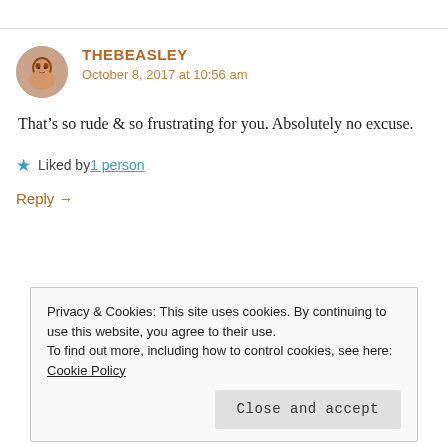THEBEASLEY
October 8, 2017 at 10:56 am
That’s so rude & so frustrating for you. Absolutely no excuse.
★ Liked by 1 person
Reply →
Privacy & Cookies: This site uses cookies. By continuing to use this website, you agree to their use.
To find out more, including how to control cookies, see here: Cookie Policy
Close and accept